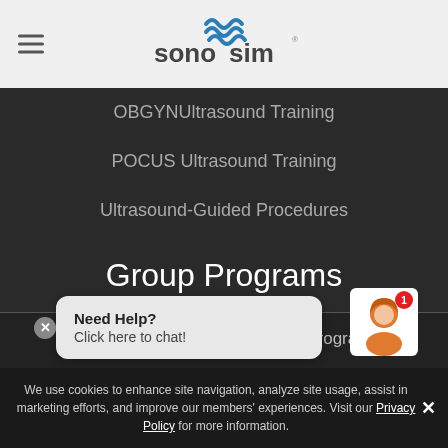[Figure (logo): SonoSim logo with blue wave icon and text 'sonosim']
OBGYNUltrasound Training
POCUS Ultrasound Training
Ultrasound-Guided Procedures
Group Programs
Physician Groups & Residency Programs
Medical Schools
Simulation Centers
Need Help?
Click here to chat!
We use cookies to enhance site navigation, analyze site usage, assist in marketing efforts, and improve our members' experiences. Visit our Privacy Policy for more information.